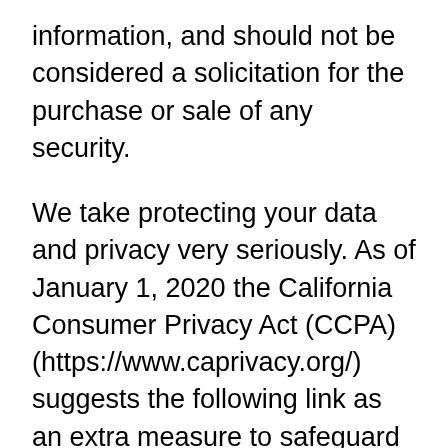information, and should not be considered a solicitation for the purchase or sale of any security.
We take protecting your data and privacy very seriously. As of January 1, 2020 the California Consumer Privacy Act (CCPA) (https://www.caprivacy.org/) suggests the following link as an extra measure to safeguard your data: Do not sell my personal information (http://www.library-messages.com/eb3628e6-1f06-